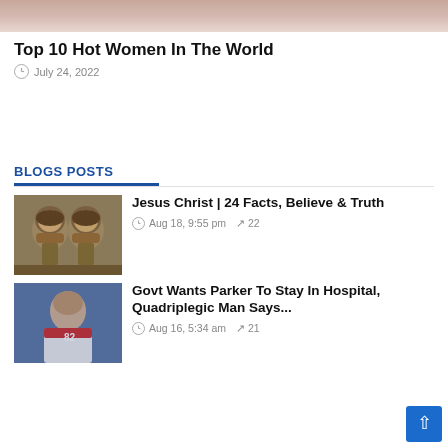[Figure (photo): Cropped top portion of a photo showing a person, partially visible at top of page]
Top 10 Hot Women In The World
July 24, 2022
BLOGS POSTS
[Figure (photo): Two reconstructed historical faces of Jesus Christ side by side, showing dark-skinned men with beards and dark hair]
Jesus Christ | 24 Facts, Believe & Truth
Aug 18, 9:55 pm  22
[Figure (photo): Football player in Kansas City Chiefs uniform, number 82, looking upward]
Govt Wants Parker To Stay In Hospital, Quadriplegic Man Says...
Aug 16, 5:34 am  21